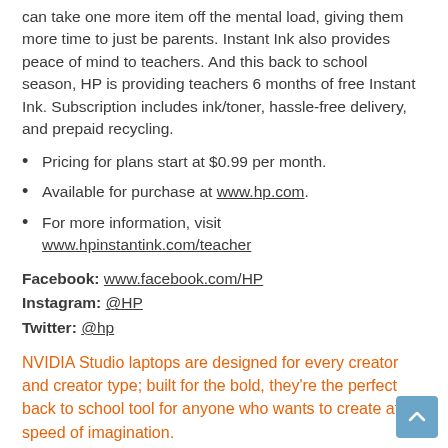can take one more item off the mental load, giving them more time to just be parents. Instant Ink also provides peace of mind to teachers. And this back to school season, HP is providing teachers 6 months of free Instant Ink. Subscription includes ink/toner, hassle-free delivery, and prepaid recycling.
Pricing for plans start at $0.99 per month.
Available for purchase at www.hp.com.
For more information, visit www.hpinstantink.com/teacher
Facebook: www.facebook.com/HP
Instagram: @HP
Twitter: @hp
NVIDIA Studio laptops are designed for every creator and creator type; built for the bold, they're the perfect back to school tool for anyone who wants to create at the speed of imagination.